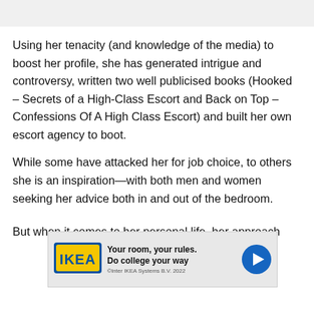Using her tenacity (and knowledge of the media) to boost her profile, she has generated intrigue and controversy, written two well publicised books (Hooked – Secrets of a High-Class Escort and Back on Top – Confessions Of A High Class Escort) and built her own escort agency to boot.
While some have attacked her for job choice, to others she is an inspiration—with both men and women seeking her advice both in and out of the bedroom.
[Figure (other): IKEA advertisement banner: 'Your room, your rules. Do college your way' with IKEA logo and play button]
But when it comes to her personal life, her approach